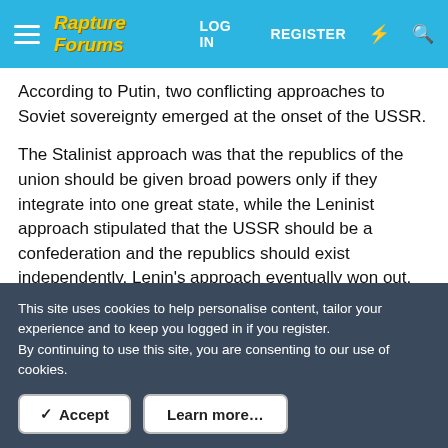Rapture Forums — LOG IN  REGISTER
According to Putin, two conflicting approaches to Soviet sovereignty emerged at the onset of the USSR.
The Stalinist approach was that the republics of the union should be given broad powers only if they integrate into one great state, while the Leninist approach stipulated that the USSR should be a confederation and the republics should exist independently. Lenin's approach eventually won out, and the results, both because of the flawed initial approach and failed policy, proved that it was a big mistake, as it led to the emergence of nationalism.
This site uses cookies to help personalise content, tailor your experience and to keep you logged in if you register.
By continuing to use this site, you are consenting to our use of cookies.